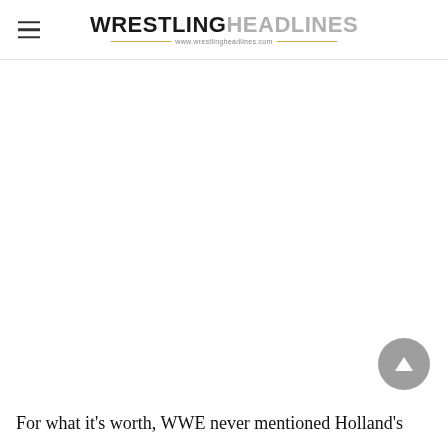WRESTLING HEADLINES — www.wrestlingheadlines.com
For what it's worth, WWE never mentioned Holland's